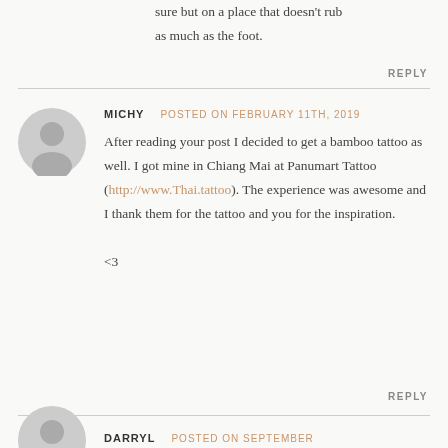sure but on a place that doesn't rub as much as the foot.
REPLY
MICHY   POSTED ON FEBRUARY 11TH, 2019
After reading your post I decided to get a bamboo tattoo as well. I got mine in Chiang Mai at Panumart Tattoo (http://www.Thai.tattoo). The experience was awesome and I thank them for the tattoo and you for the inspiration.

<3
REPLY
DARRYL   POSTED ON SEPTEMBER